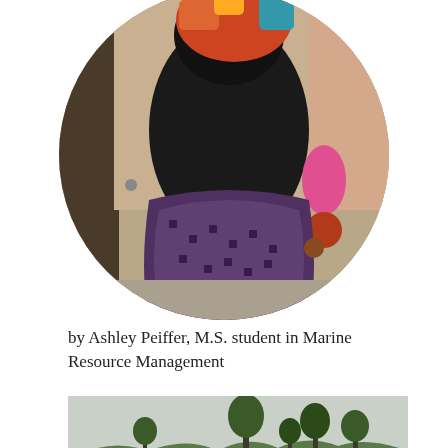[Figure (photo): Circular cropped photo of a woman seen from behind, wearing a black top, colorful headscarf, and purple patterned skirt, carrying a baby on her back. Background shows a building with wooden poles.]
by Ashley Peiffer, M.S. student in Marine Resource Management
[Figure (photo): Landscape photograph showing a rural African village scene with green hills, trees, and low structures, taken on an overcast day.]